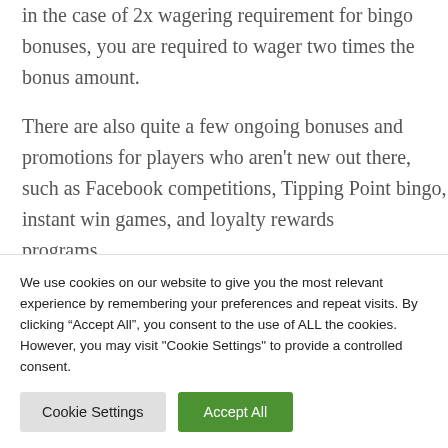in the case of 2x wagering requirement for bingo bonuses, you are required to wager two times the bonus amount.
There are also quite a few ongoing bonuses and promotions for players who aren't new out there, such as Facebook competitions, Tipping Point bingo, instant win games, and loyalty rewards programs
We use cookies on our website to give you the most relevant experience by remembering your preferences and repeat visits. By clicking "Accept All", you consent to the use of ALL the cookies. However, you may visit "Cookie Settings" to provide a controlled consent.